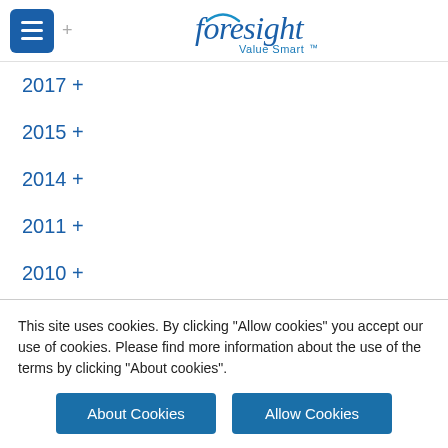foresight Value Smart
2017 +
2015 +
2014 +
2011 +
2010 +
This site uses cookies. By clicking "Allow cookies" you accept our use of cookies. Please find more information about the use of the terms by clicking "About cookies".
About Cookies
Allow Cookies